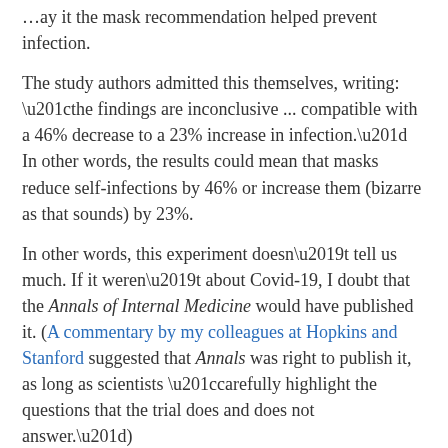…ay it the mask recommendation helped prevent infection.
The study authors admitted this themselves, writing: “the findings are inconclusive ... compatible with a 46% decrease to a 23% increase in infection.” In other words, the results could mean that masks reduce self-infections by 46% or increase them (bizarre as that sounds) by 23%.
In other words, this experiment doesn’t tell us much. If it weren’t about Covid-19, I doubt that the Annals of Internal Medicine would have published it. (A commentary by my colleagues at Hopkins and Stanford suggested that Annals was right to publish it, as long as scientists “carefully highlight the questions that the trial does and does not answer.”)